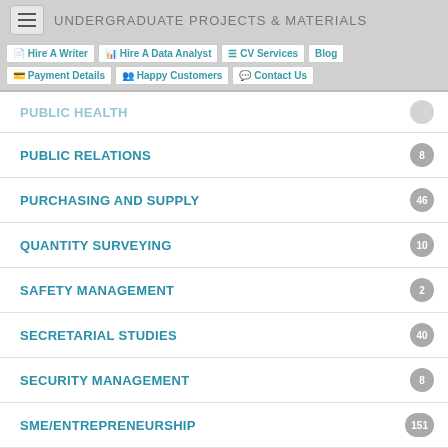UNDERGRADUATE PROJECTS & MATERIALS
PUBLIC HEALTH
PUBLIC RELATIONS — 8
PURCHASING AND SUPPLY — 46
QUANTITY SURVEYING — 10
SAFETY MANAGEMENT — 2
SECRETARIAL STUDIES — 40
SECURITY MANAGEMENT — 8
SME/ENTREPRENEURSHIP — 151
SOCIOLOGY — 53